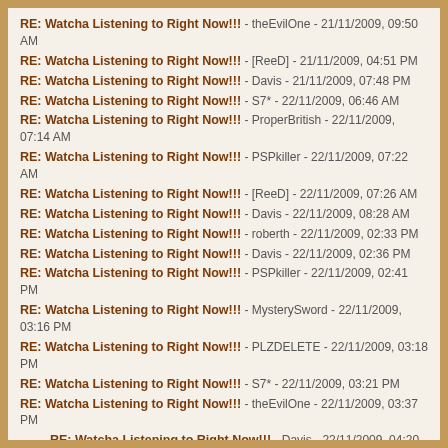RE: Watcha Listening to Right Now!!! - theEvilOne - 21/11/2009, 09:50 AM
RE: Watcha Listening to Right Now!!! - [ReeD] - 21/11/2009, 04:51 PM
RE: Watcha Listening to Right Now!!! - Davis - 21/11/2009, 07:48 PM
RE: Watcha Listening to Right Now!!! - S7* - 22/11/2009, 06:46 AM
RE: Watcha Listening to Right Now!!! - ProperBritish - 22/11/2009, 07:14 AM
RE: Watcha Listening to Right Now!!! - PSPkiller - 22/11/2009, 07:22 AM
RE: Watcha Listening to Right Now!!! - [ReeD] - 22/11/2009, 07:26 AM
RE: Watcha Listening to Right Now!!! - Davis - 22/11/2009, 08:28 AM
RE: Watcha Listening to Right Now!!! - roberth - 22/11/2009, 02:33 PM
RE: Watcha Listening to Right Now!!! - Davis - 22/11/2009, 02:36 PM
RE: Watcha Listening to Right Now!!! - PSPkiller - 22/11/2009, 02:41 PM
RE: Watcha Listening to Right Now!!! - MysterySword - 22/11/2009, 03:16 PM
RE: Watcha Listening to Right Now!!! - PLZDELETE - 22/11/2009, 03:18 PM
RE: Watcha Listening to Right Now!!! - S7* - 22/11/2009, 03:21 PM
RE: Watcha Listening to Right Now!!! - theEvilOne - 22/11/2009, 03:37 PM
RE: Watcha Listening to Right Now!!! - Davis - 22/11/2009, 04:20 PM
RE: Watcha Listening to Right Now!!! - S7* - 23/11/2009, 05:44 AM